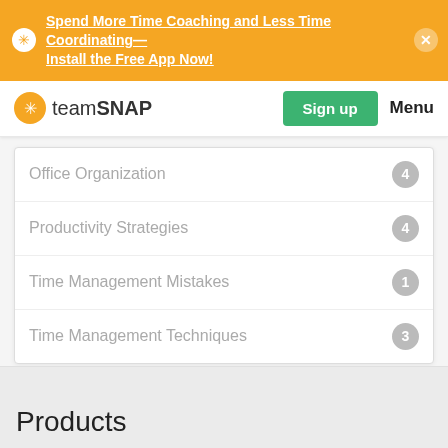Spend More Time Coaching and Less Time Coordinating—Install the Free App Now!
[Figure (logo): TeamSnap logo with orange star icon]
Office Organization 4
Productivity Strategies 4
Time Management Mistakes 1
Time Management Techniques 3
Products